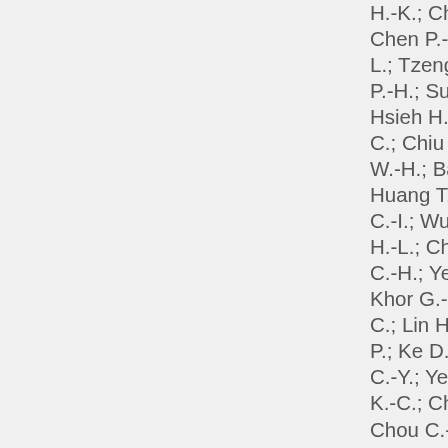H.-K.; Chen S.-S.; Chen P.-Y.; Chye L.; Tzeng W.-J.; W P.-H.; Sung P.-S.; Hsieh H.-C.; Su H C.; Chiu H.-C.; Ch W.-H.; Bai C.-H.; Huang T.-H.; Lau C.-I.; Wu Y.-Y.; Yeh H.-L.; Chang A.; L C.-H.; Yen C.-C.; Khor G.-T.; Chao C.; Lin H.-F.; Hua P.; Ke D.-S.; Chan C.-Y.; Yeh P.-S.; Li K.-C.; Cheng T.-J Chou C.-H.; Yang C.-M.; Shen H.-C.; Tsai S.-J.; Lu T.-M Kung S.-L.; Lee N